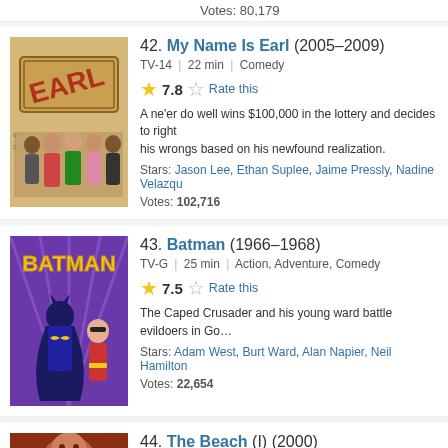Votes: 80,179
42. My Name Is Earl (2005–2009) TV-14 | 22 min | Comedy 7.8 Rate this A ne'er do well wins $100,000 in the lottery and decides to right his wrongs based on his newfound realization. Stars: Jason Lee, Ethan Suplee, Jaime Pressly, Nadine Velazquez Votes: 102,716
[Figure (illustration): TV show poster for My Name Is Earl showing cast members in a police lineup style]
43. Batman (1966–1968) TV-G | 25 min | Action, Adventure, Comedy 7.5 Rate this The Caped Crusader and his young ward battle evildoers in Go... Stars: Adam West, Burt Ward, Alan Napier, Neil Hamilton Votes: 22,654
[Figure (illustration): TV show poster for Batman 1966 showing Batman and Robin in purple/yellow comic style]
44. The Beach (I) (2000) R | 119 min | Adventure, Drama, Romance